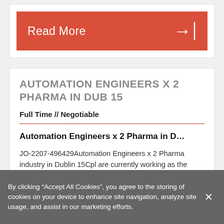[Figure (other): Red 'Read More' button with right arrow icon]
AUTOMATION ENGINEERS X 2 PHARMA IN DUB 15
Full Time // Negotiable
Automation Engineers x 2 Pharma in D...
JO-2207-496429Automation Engineers x 2 Pharma industry in Dublin 15Cpl are currently working as the exclusive recruitment partner with a leading
By clicking “Accept All Cookies”, you agree to the storing of cookies on your device to enhance site navigation, analyze site usage, and assist in our marketing efforts.